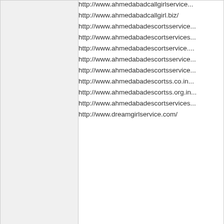http://www.ahmedabadcallgirlservice...
http://www.ahmedabadcallgirl.biz/
http://www.ahmedabadescortsservice...
http://www.ahmedabadescortservices...
http://www.ahmedabadescortservice....
http://www.ahmedabadescortsservice...
http://www.ahmedabadescortsservice...
http://www.ahmedabadescortss.co.in...
http://www.ahmedabadescortss.org.in...
http://www.ahmedabadescortservices...
http://www.dreamgirlservice.com/
sakshipatelx
Posts: 7
Joined: 5/19/2022
Re: All the hassles of writing the...
http://www.sakshipatel.com/
http://www.ahmedabadescortsservice...